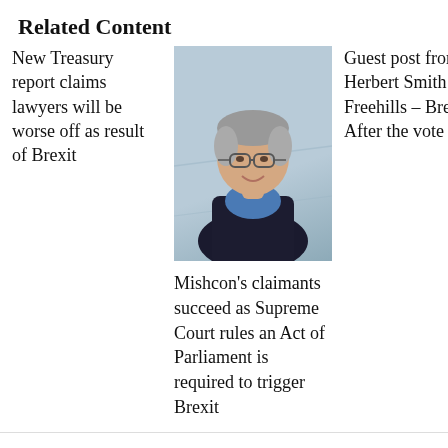Related Content
New Treasury report claims lawyers will be worse off as result of Brexit
[Figure (photo): Portrait photo of a middle-aged man with gray hair wearing glasses, a blue shirt and dark blazer, smiling, against a light blue-gray background]
Guest post from Herbert Smith Freehills – Brexit: After the vote
Mishcon's claimants succeed as Supreme Court rules an Act of Parliament is required to trigger Brexit
More in Blogs
[Figure (photo): Two partially visible thumbnail images at the bottom of the page]